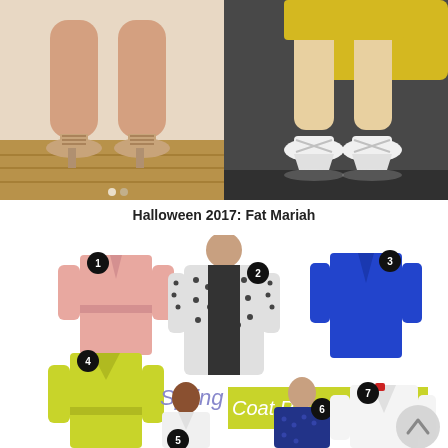[Figure (photo): Two side-by-side photos showing legs and shoes. Left: plus-size legs wearing lace-up heeled sandals on a wood floor. Right: legs wearing white platform wedge heels with cross-strap detail, yellow dress visible.]
Halloween 2017: Fat Mariah
[Figure (photo): Fashion collage showing Spring Coat RoundUp. Items numbered 1-7: (1) pink belted coat, (2) woman in black/white patterned long cardigan, (3) royal blue long blazer, (4) lime green/chartreuse belted coat, (5) woman in white open-front coat, (6) woman in navy patterned coat, (7) white structured blazer/coat. Text overlay reads 'Spring Coat RoundUp' with 'Spring' in light purple italic and 'Coat RoundUp' on a lime green background.]